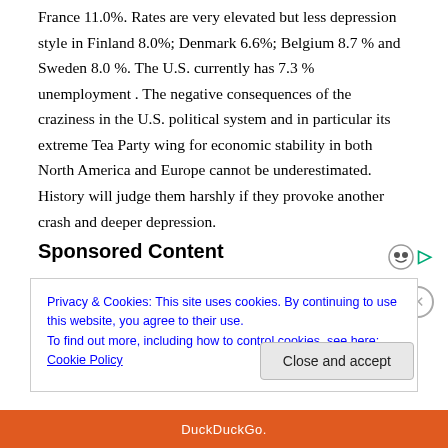France 11.0%. Rates are very elevated but less depression style in Finland 8.0%; Denmark 6.6%; Belgium 8.7 % and Sweden 8.0 %. The U.S. currently has 7.3 % unemployment . The negative consequences of the craziness in the U.S. political system and in particular its extreme Tea Party wing for economic stability in both North America and Europe cannot be underestimated. History will judge them harshly if they provoke another crash and deeper depression.
Sponsored Content
Privacy & Cookies: This site uses cookies. By continuing to use this website, you agree to their use.
To find out more, including how to control cookies, see here: Cookie Policy
Close and accept
DuckDuckGo.